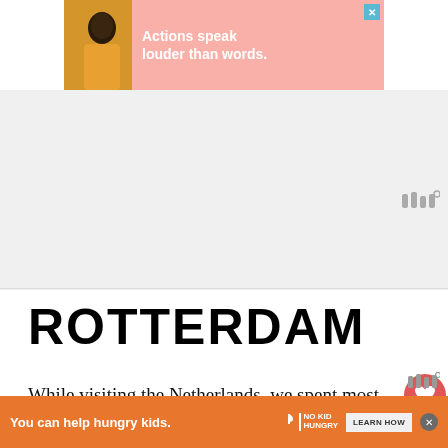[Figure (other): Top advertisement banner with pink background, person in yellow jacket, text 'Actions speak louder than words.' with close X button]
ROTTERDAM
While visiting the Netherlands, we spent most of our week in the area surrounding Amsterdam. I wanted to take one day tri, and decided on Rotterdam. There many amazing places to visit in the N... es. it... its
[Figure (other): Bottom advertisement banner: orange background, 'You can help hungry kids.' with No Kid Hungry logo and LEARN HOW button]
[Figure (other): What's Next promo box showing Asparagus Fried Rice with thumbnail image]